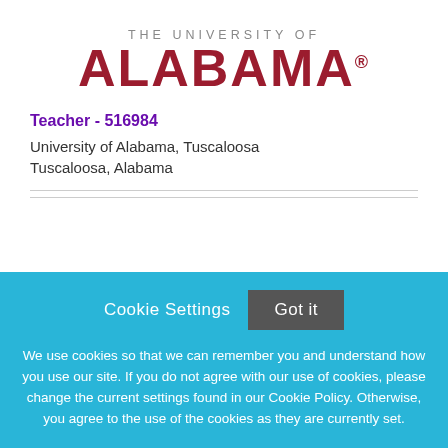[Figure (logo): The University of Alabama logo with 'THE UNIVERSITY OF' in small caps above the large red text 'ALABAMA' with registered trademark symbol]
Teacher - 516984
University of Alabama, Tuscaloosa
Tuscaloosa, Alabama
Cookie Settings  Got it

We use cookies so that we can remember you and understand how you use our site. If you do not agree with our use of cookies, please change the current settings found in our Cookie Policy. Otherwise, you agree to the use of the cookies as they are currently set.